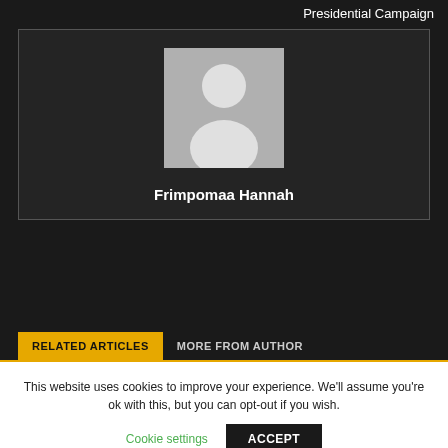Presidential Campaign
[Figure (photo): Author profile placeholder image showing a generic silhouette of a person on a gray background]
Frimpomaa Hannah
RELATED ARTICLES   MORE FROM AUTHOR
This website uses cookies to improve your experience. We'll assume you're ok with this, but you can opt-out if you wish.
Cookie settings   ACCEPT